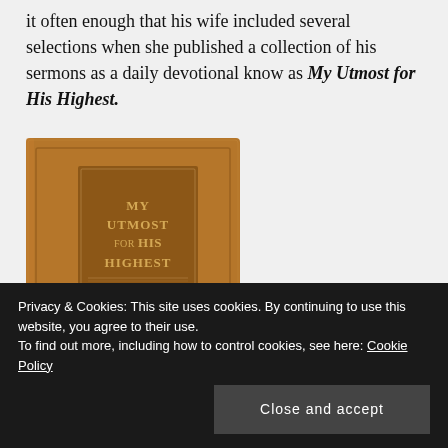it often enough that his wife included several selections when she published a collection of his sermons as a daily devotional know as My Utmost for His Highest.
[Figure (photo): Book cover of 'My Utmost for His Highest' by Oswald Chambers — a brown leather-textured hardcover with embossed title text and the author's name.]
Privacy & Cookies: This site uses cookies. By continuing to use this website, you agree to their use. To find out more, including how to control cookies, see here: Cookie Policy